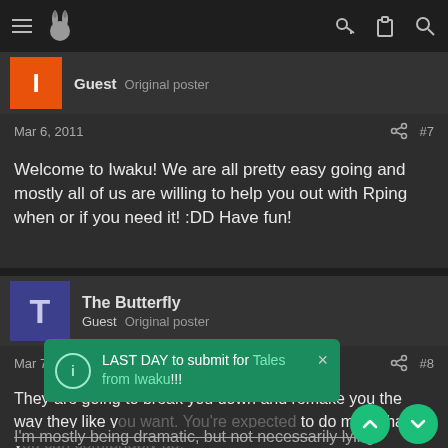Navigation bar with menu, logo, key icon, clipboard icon, search icon
Guest  Original poster
Mar 6, 2011  #7
Welcome to Iwaku! We are all pretty easy going and mostly all of us are willing to help you out with Rping when or if you need it! :DD Have fun!
The Butterfly
Guest  Original poster
Mar 7, 2011  #8
They are going to break you down and remake you the way they like y... to do more than y...
I'm mostly being dramatic, but not necessarily lying.
LAST DAY to submit for Tales from Iwaku!!!